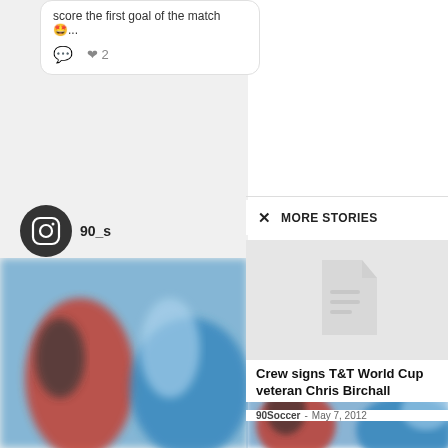score the first goal of the match 🤩...
[Figure (screenshot): Social media post card snippet with comment and like icons, showing partial post text and emoji]
90_s
[Figure (screenshot): Instagram icon circle with 90_s username label]
MORE STORIES
[Figure (screenshot): Placeholder image with document icon for story thumbnail]
Crew signs T&T World Cup veteran Chris Birchall
90Soccer - May 7, 2012
[Figure (photo): Blurred soccer match photo showing players in red and blue jerseys]